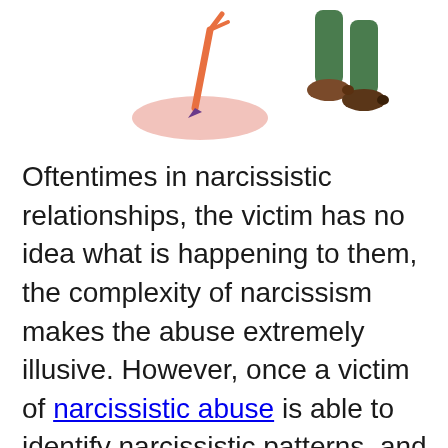[Figure (illustration): Two cartoon illustrations: on the left, a pencil or arrow sticking into a pink oval shape (like a drop or splat); on the right, legs of a person walking wearing green pants and brown shoes.]
Oftentimes in narcissistic relationships, the victim has no idea what is happening to them, the complexity of narcissism makes the abuse extremely illusive. However, once a victim of narcissistic abuse is able to identify narcissistic patterns, and acknowledge what is happening to them is abuse, it’s very common to see techniques like gray